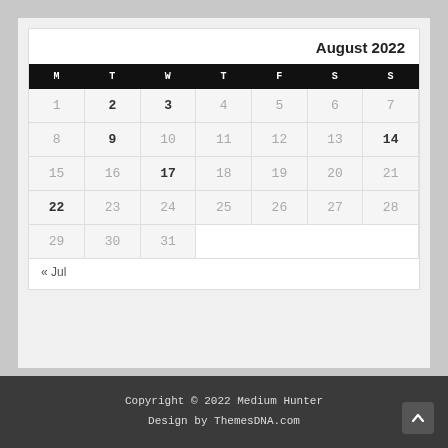| M | T | W | T | F | S | S |
| --- | --- | --- | --- | --- | --- | --- |
| 1 | 2 | 3 | 4 | 5 | 6 | 7 |
| 8 | 9 | 10 | 11 | 12 | 13 | 14 |
| 15 | 16 | 17 | 18 | 19 | 20 | 21 |
| 22 | 23 | 24 | 25 | 26 | 27 | 28 |
| 29 | 30 | 31 |  |  |  |  |
« Jul
Copyright © 2022 Medium Hunter
Design by ThemesDNA.com